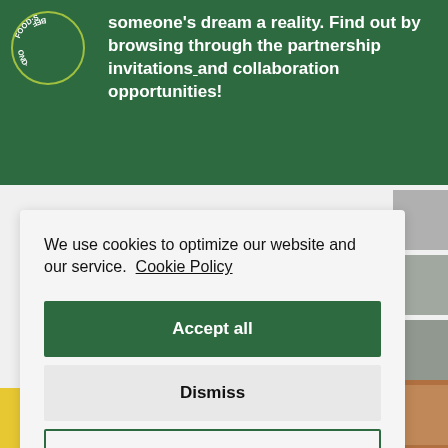someone's dream a reality. Find out by browsing through the partnership invitations and collaboration opportunities!
We use cookies to optimize our website and our service. Cookie Policy
Accept all
Dismiss
Preferences